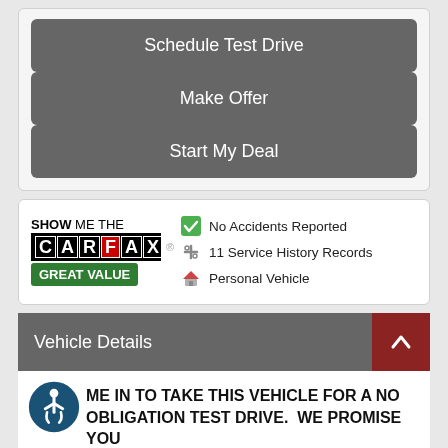Schedule Test Drive
Make Offer
Start My Deal
[Figure (logo): SHOW ME THE CARFAX GREAT VALUE badge with green banner]
No Accidents Reported
11 Service History Records
Personal Vehicle
Vehicle Details
ME IN TO TAKE THIS VEHICLE FOR A NO OBLIGATION TEST DRIVE. WE PROMISE YOU